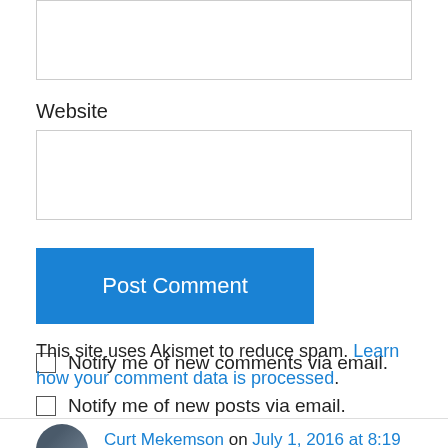[Figure (screenshot): Partial top input box (top of page, cropped)]
Website
[Figure (screenshot): Website text input field]
Post Comment
Notify me of new comments via email.
Notify me of new posts via email.
This site uses Akismet to reduce spam. Learn how your comment data is processed.
Curt Mekemson on July 1, 2016 at 8:19 pm